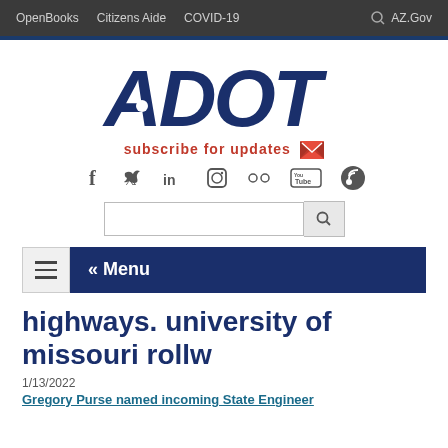OpenBooks   Citizens Aide   COVID-19   AZ.Gov
[Figure (logo): ADOT logo in dark navy blue italic bold text]
subscribe for updates
[Figure (infographic): Social media icons: Facebook, Twitter, LinkedIn, Instagram, Flickr, YouTube, Blog]
[Figure (screenshot): Search bar with search button]
[Figure (infographic): Hamburger menu button and blue menu bar with «Menu label]
highways. university of missouri rollw
1/13/2022
Gregory Purse named incoming State Engineer